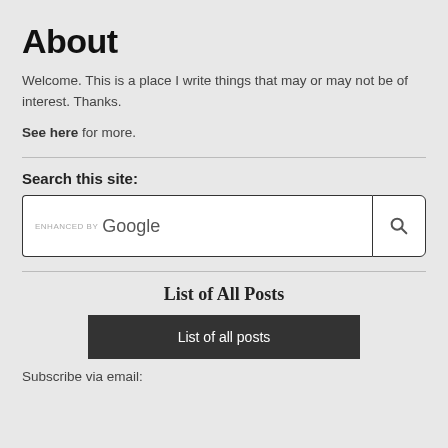About
Welcome. This is a place I write things that may or may not be of interest. Thanks.
See here for more.
Search this site:
[Figure (other): Search box with 'ENHANCED BY Google' placeholder text and a search button with magnifying glass icon]
List of All Posts
List of all posts
Subscribe via email: